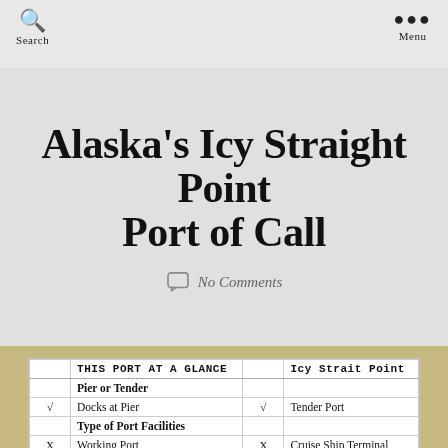Search   Menu
Alaska's Icy Straight Point Port of Call
No Comments
|  | THIS PORT AT A GLANCE |  | Icy Strait Point |
| --- | --- | --- | --- |
|  | Pier or Tender |  |  |
| √ | Docks at Pier | √ | Tender Port |
|  | Type of Port Facilities |  |  |
| X | Working Port | X | Cruise Ship Terminal |
| √ | Cruise Ship Pier | √ | Facilities at Pier |